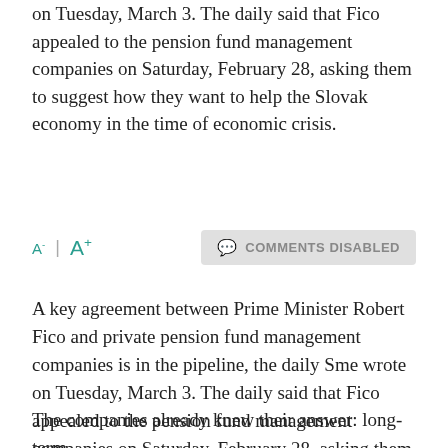on Tuesday, March 3. The daily said that Fico appealed to the pension fund management companies on Saturday, February 28, asking them to suggest how they want to help the Slovak economy in the time of economic crisis.
A- | A+
COMMENTS DISABLED
A key agreement between Prime Minister Robert Fico and private pension fund management companies is in the pipeline, the daily Sme wrote on Tuesday, March 3. The daily said that Fico appealed to the pension fund management companies on Saturday, February 28, asking them to suggest how they want to help the Slovak economy in the time of economic crisis.
The companies already knew their answer: long-term